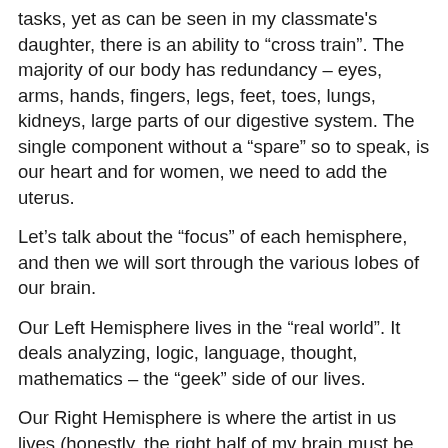tasks, yet as can be seen in my classmate's daughter, there is an ability to “cross train”. The majority of our body has redundancy – eyes, arms, hands, fingers, legs, feet, toes, lungs, kidneys, large parts of our digestive system. The single component without a “spare” so to speak, is our heart and for women, we need to add the uterus.
Let’s talk about the “focus” of each hemisphere, and then we will sort through the various lobes of our brain.
Our Left Hemisphere lives in the “real world”. It deals analyzing, logic, language, thought, mathematics – the “geek” side of our lives.
Our Right Hemisphere is where the artist in us lives (honestly, the right half of my brain must be the size of a walnut!). It’s where we “think”, it holds our creativity, intuition, our enjoyment of art and music. It’s our “heartsy” site.
Both halves, work together to make us “whole” – yet when you look at an individual as a mortal threat, they may well be